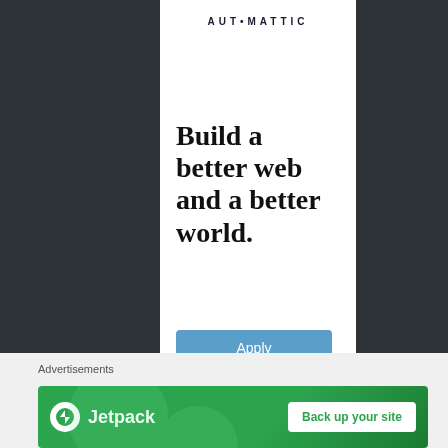[Figure (logo): Automattic company logo text at top of white center panel]
Build a better web and a better world.
[Figure (other): Blue Apply button]
[Figure (other): Close/X button circle at bottom right]
Advertisements
[Figure (other): Jetpack advertisement banner with Back up your site button]